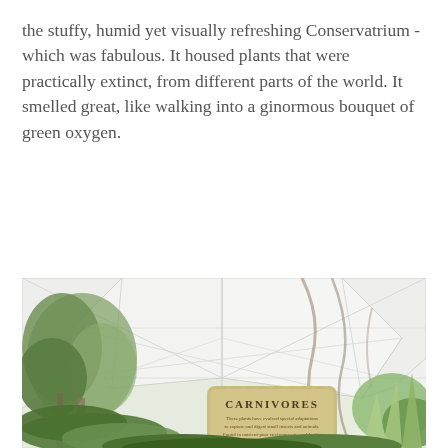the stuffy, humid yet visually refreshing Conservatrium - which was fabulous. It housed plants that were practically extinct, from different parts of the world. It smelled great, like walking into a ginormous bouquet of green oxygen.
[Figure (photo): Interior of a conservatory (Conservatrium) showing lush green tropical plants, trees, and a large white geodesic dome/greenhouse structure with metal framing visible above. In the foreground is a decorative wooden sign reading 'CARNIVORES' surrounded by various green plants.]